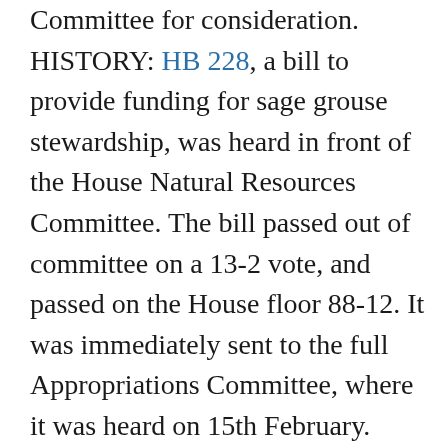Committee for consideration. HISTORY: HB 228, a bill to provide funding for sage grouse stewardship, was heard in front of the House Natural Resources Committee. The bill passed out of committee on a 13-2 vote, and passed on the House floor 88-12. It was immediately sent to the full Appropriations Committee, where it was heard on 15th February. Once again, MACD testified in support of this bill. A revised fiscal note has been requested. This bill would allow the unspent funds authorized at the 2015 Session for sage grouse to be carried forward for the next several years. MACD supported this program at the 2015 Session, and will continue to do so.